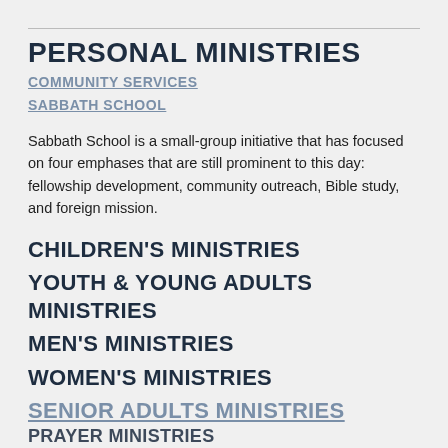PERSONAL MINISTRIES
COMMUNITY SERVICES
SABBATH SCHOOL
Sabbath School is a small-group initiative that has focused on four emphases that are still prominent to this day: fellowship development, community outreach, Bible study, and foreign mission.
CHILDREN'S MINISTRIES
YOUTH & YOUNG ADULTS MINISTRIES
MEN'S MINISTRIES
WOMEN'S MINISTRIES
SENIOR ADULTS MINISTRIES
PRAYER MINISTRIES